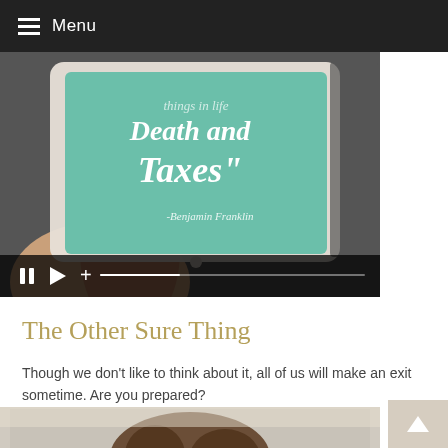Menu
[Figure (screenshot): Video thumbnail showing a tablet screen with a teal background displaying the text 'things in life Death and Taxes" -Benjamin Franklin'. A hand holds the tablet. Below the image is a video player control bar with pause, play, volume, and progress bar controls.]
The Other Sure Thing
Though we don’t like to think about it, all of us will make an exit sometime. Are you prepared?
[Figure (photo): Partial bottom image showing a person with curly hair, partially visible.]